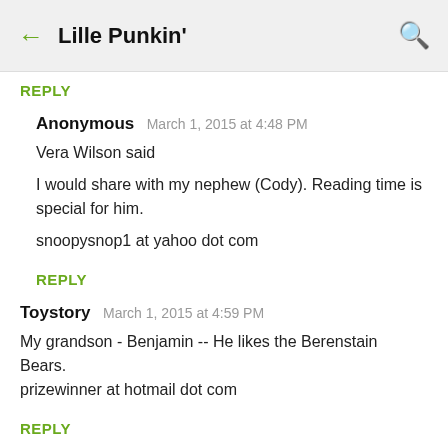← Lille Punkin' 🔍
REPLY
Anonymous  March 1, 2015 at 4:48 PM
Vera Wilson said

I would share with my nephew (Cody). Reading time is special for him.

snoopysnop1 at yahoo dot com
REPLY
Toystory  March 1, 2015 at 4:59 PM
My grandson - Benjamin -- He likes the Berenstain Bears.
prizewinner at hotmail dot com
REPLY
Li...